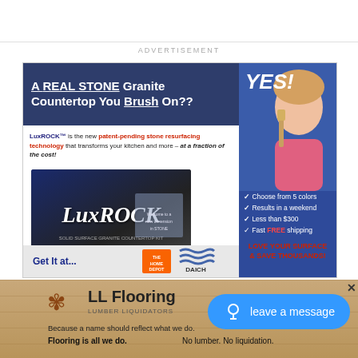ADVERTISEMENT
[Figure (infographic): LuxROCK granite countertop resurfacing product advertisement. Dark blue header reads 'A REAL STONE Granite Countertop You Brush On??' with a YES! callout and woman holding a paintbrush. Body text describes LuxROCK patent-pending stone resurfacing technology. Right panel lists checkmarks: Choose from 5 colors, Results in a weekend, Less than $300, Fast FREE shipping. Red text: LOVE YOUR SURFACE & SAVE THOUSANDS!. Bottom strip: Get It at... with Home Depot and Daich logos.]
[Figure (infographic): LL Flooring (Lumber Liquidators) advertisement on wood floor background. Logo with snowflake icon. Tagline: Because a name should reflect what we do. Flooring is all we do. No lumber. No liquidation.]
leave a message